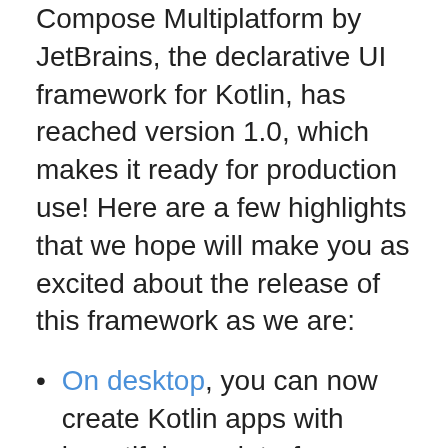Compose Multiplatform by JetBrains, the declarative UI framework for Kotlin, has reached version 1.0, which makes it ready for production use! Here are a few highlights that we hope will make you as excited about the release of this framework as we are:
On desktop, you can now create Kotlin apps with beautiful user interfaces quickly and efficiently.
On the web, you can now build production-quality dynamic web experiences using Compose for Web's stable DOM API with full interoperability